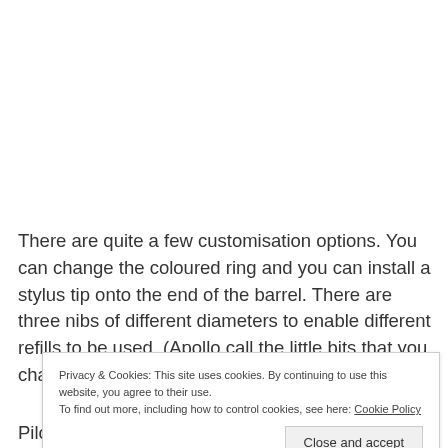There are quite a few customisation options. You can change the coloured ring and you can install a stylus tip onto the end of the barrel. There are three nibs of different diameters to enable different refills to be used. (Apollo call the little bits that you change to hold the refills in
Privacy & Cookies: This site uses cookies. By continuing to use this website, you agree to their use. To find out more, including how to control cookies, see here: Cookie Policy
Pilot Hi-Tec-C refill that comes with the pen and a Pilot Juice 0.5mm refill